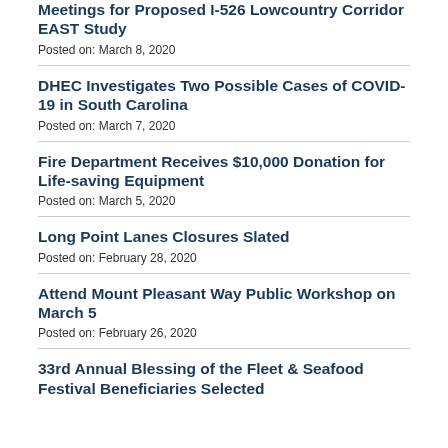Meetings for Proposed I-526 Lowcountry Corridor EAST Study
Posted on: March 8, 2020
DHEC Investigates Two Possible Cases of COVID-19 in South Carolina
Posted on: March 7, 2020
Fire Department Receives $10,000 Donation for Life-saving Equipment
Posted on: March 5, 2020
Long Point Lanes Closures Slated
Posted on: February 28, 2020
Attend Mount Pleasant Way Public Workshop on March 5
Posted on: February 26, 2020
33rd Annual Blessing of the Fleet & Seafood Festival Beneficiaries Selected